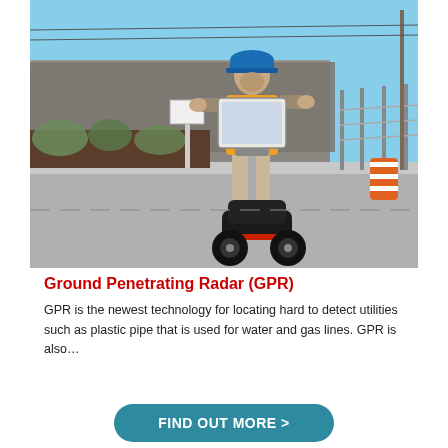[Figure (photo): A worker in an orange safety vest and blue hard hat using a Ground Penetrating Radar (GPR) cart on a road, with a tablet/controller attached, near construction barriers and landscaping in the background.]
Ground Penetrating Radar (GPR)
GPR is the newest technology for locating hard to detect utilities such as plastic pipe that is used for water and gas lines. GPR is also…
FIND OUT MORE >